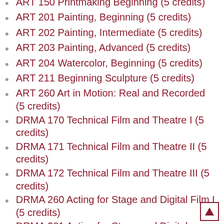ART 150 Printmaking Beginning (5 credits)
ART 201 Painting, Beginning (5 credits)
ART 202 Painting, Intermediate (5 credits)
ART 203 Painting, Advanced (5 credits)
ART 204 Watercolor, Beginning (5 credits)
ART 211 Beginning Sculpture (5 credits)
ART 260 Art in Motion: Real and Recorded (5 credits)
DRMA 170 Technical Film and Theatre I (5 credits)
DRMA 171 Technical Film and Theatre II (5 credits)
DRMA 172 Technical Film and Theatre III (5 credits)
DRMA 260 Acting for Stage and Digital Film I (5 credits)
DRMA 261 Acting for Stage and Digital